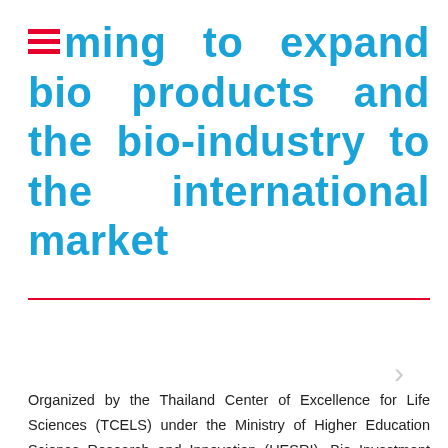Aiming to expand bio products and the bio-industry to the international market
06/08/2019
Organized by the Thailand Center of Excellence for Life Sciences (TCELS) under the Ministry of Higher Education Science Research and Innovation (HESRI), Bio Investment Asia 2019 will take place from 25-27 September 2019 at EH 104, BITEC, Bangkok, Thailand